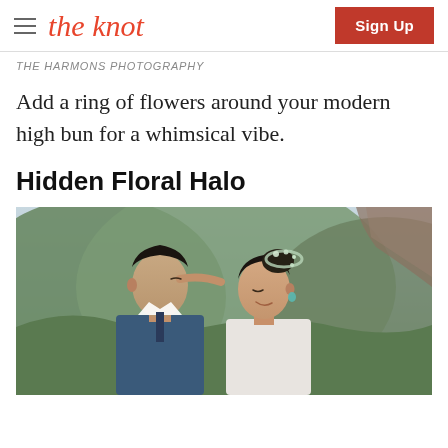the knot | Sign Up
THE HARMONS PHOTOGRAPHY
Add a ring of flowers around your modern high bun for a whimsical vibe.
Hidden Floral Halo
[Figure (photo): A couple embracing outdoors with green mountainous backdrop. The woman has dark hair styled in an updo with a delicate floral halo crown. The man is leaning in to kiss her cheek.]